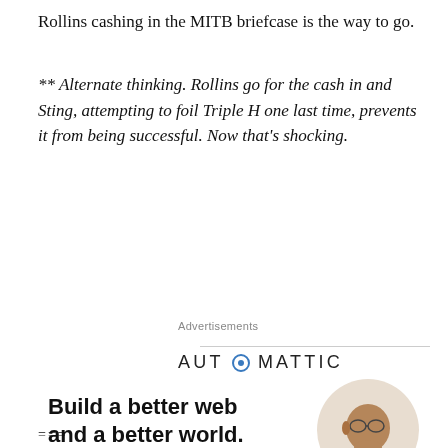Rollins cashing in the MITB briefcase is the way to go.
** Alternate thinking. Rollins go for the cash in and Sting, attempting to foil Triple H one last time, prevents it from being successful. Now that's shocking.
Advertisements
[Figure (infographic): Automattic advertisement: logo at top with text 'Build a better web and a better world.' and an Apply button, with a circular photo of a man thinking on the right side. 'REPORT THIS AD' text at bottom right.]
===